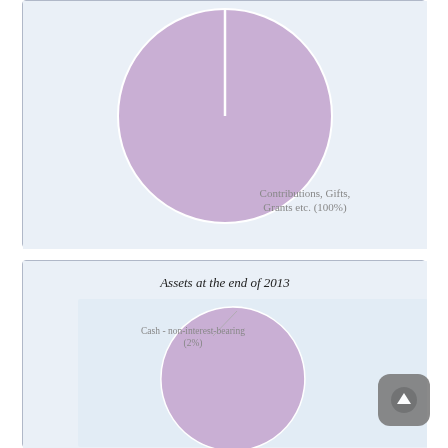[Figure (pie-chart): ]
[Figure (pie-chart): Assets at the end of 2013]